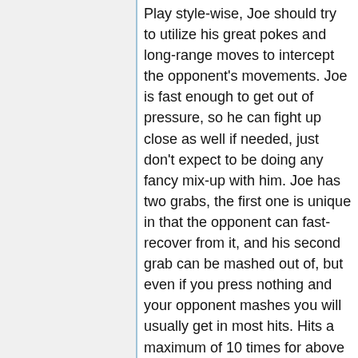Play style-wise, Joe should try to utilize his great pokes and long-range moves to intercept the opponent's movements. Joe is fast enough to get out of pressure, so he can fight up close as well if needed, just don't expect to be doing any fancy mix-up with him. Joe has two grabs, the first one is unique in that the opponent can fast-recover from it, and his second grab can be mashed out of, but even if you press nothing and your opponent mashes you will usually get in most hits. Hits a maximum of 10 times for above average damage.
Pros
Cons
Nice normals, combos, and special moves
His sweep has very short range
Decent P-Power
Cannot use a